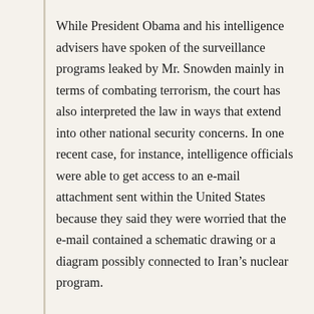While President Obama and his intelligence advisers have spoken of the surveillance programs leaked by Mr. Snowden mainly in terms of combating terrorism, the court has also interpreted the law in ways that extend into other national security concerns. In one recent case, for instance, intelligence officials were able to get access to an e-mail attachment sent within the United States because they said they were worried that the e-mail contained a schematic drawing or a diagram possibly connected to Iran’s nuclear program.

In the past, that probably would have required a court warrant because the suspicious e-mail involved American communications. In this case, however, a little-noticed provision in a 2008 law, expanding the definition of “foreign intelligence” to include “weapons of mass destruction” …